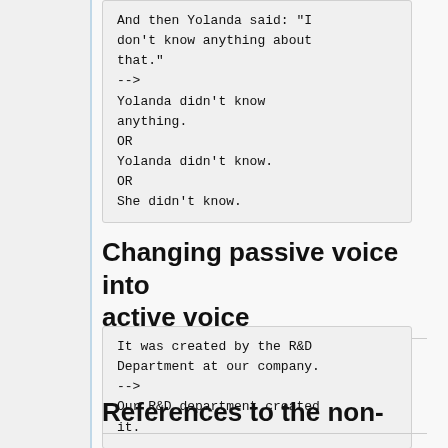And then Yolanda said: "I don't know anything about that."
-->
Yolanda didn't know anything.
OR
Yolanda didn't know.
OR
She didn't know.
Changing passive voice into active voice
It was created by the R&D Department at our company.
-->
Our R&D department created it.
References to the non-